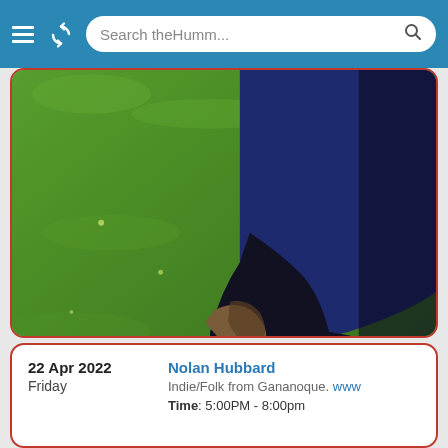Search theHumm...
[Figure (photo): Close-up photo of a person wearing a dark navy blue top and black skirt/pants, standing on bright green grass. The person's hand is visible at their side reaching towards the fabric. The grass is vivid green and sunlit.]
22 Apr 2022
Friday
Nolan Hubbard
Indie/Folk from Gananoque. www
Time: 5:00PM - 8:00pm